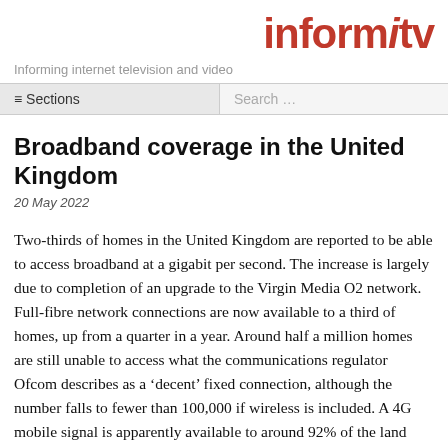informitv
Informing internet television and video
≡ Sections   Search …
Broadband coverage in the United Kingdom
20 May 2022
Two-thirds of homes in the United Kingdom are reported to be able to access broadband at a gigabit per second. The increase is largely due to completion of an upgrade to the Virgin Media O2 network. Full-fibre network connections are now available to a third of homes, up from a quarter in a year. Around half a million homes are still unable to access what the communications regulator Ofcom describes as a 'decent' fixed connection, although the number falls to fewer than 100,000 if wireless is included. A 4G mobile signal is apparently available to around 92% of the land area of the United Kingdom. 5G coverage is on